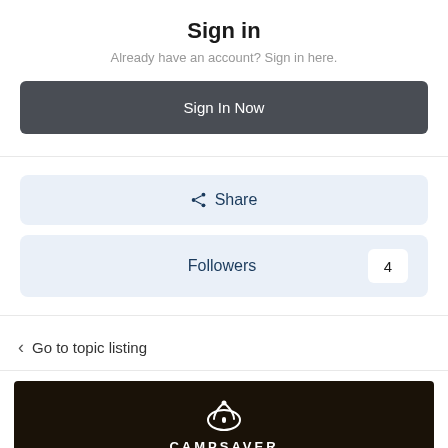Sign in
Already have an account? Sign in here.
Sign In Now
Share
Followers 4
Go to topic listing
[Figure (logo): CampSaver logo on dark background]